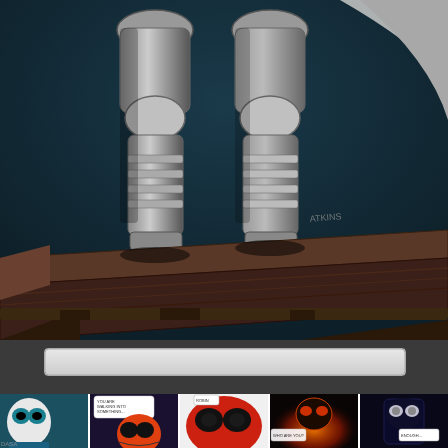[Figure (illustration): Comic book illustration showing the lower body and legs of a silver armored superhero figure standing on a rooftop ledge against a dark teal background. The armor is metallic gray with segmented pieces. A white/light cape or wing is visible at the right edge. Artist signature 'ATKINS' visible in the middle-right area of the image.]
[Figure (screenshot): A light gray search bar or input field UI element.]
[Figure (illustration): A horizontal strip of comic book panels showing various scenes with masked superhero characters. From left to right: a teal/white masked figure, an orange and black masked figure with speech bubbles, a close-up of a red and black masked face, a fiery/explosive scene with a masked character, and a blue-toned scene with a masked character.]